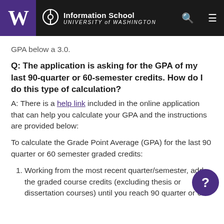Information School — University of Washington
GPA below a 3.0.
Q: The application is asking for the GPA of my last 90-quarter or 60-semester credits. How do I do this type of calculation?
A: There is a help link included in the online application that can help you calculate your GPA and the instructions are provided below:
To calculate the Grade Point Average (GPA) for the last 90 quarter or 60 semester graded credits:
Working from the most recent quarter/semester, add the graded course credits (excluding thesis or dissertation courses) until you reach 90 quarter or 60